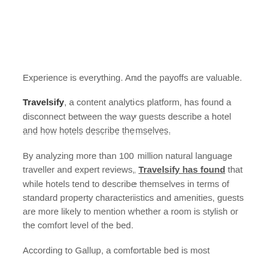Experience is everything. And the payoffs are valuable.
Travelsify, a content analytics platform, has found a disconnect between the way guests describe a hotel and how hotels describe themselves.
By analyzing more than 100 million natural language traveller and expert reviews, Travelsify has found that while hotels tend to describe themselves in terms of standard property characteristics and amenities, guests are more likely to mention whether a room is stylish or the comfort level of the bed.
According to Gallup, a comfortable bed is most